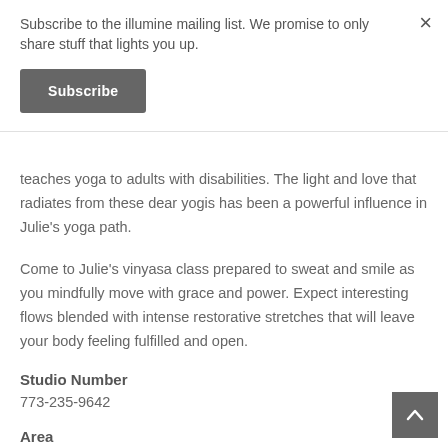Subscribe to the illumine mailing list. We promise to only share stuff that lights you up.
Subscribe
teaches yoga to adults with disabilities. The light and love that radiates from these dear yogis has been a powerful influence in Julie's yoga path.
Come to Julie's vinyasa class prepared to sweat and smile as you mindfully move with grace and power. Expect interesting flows blended with intense restorative stretches that will leave your body feeling fulfilled and open.
Studio Number
773-235-9642
Area